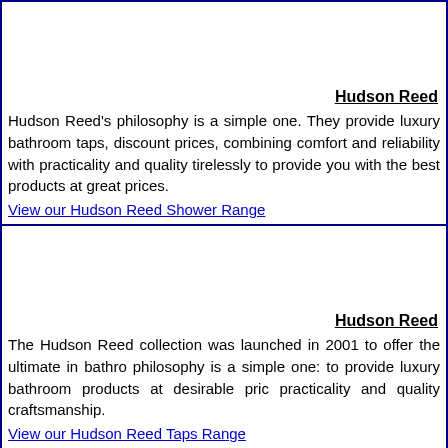Hudson Reed
Hudson Reed's philosophy is a simple one. They provide luxury bathroom taps, discount prices, combining comfort and reliability with practicality and quality tirelessly to provide you with the best products at great prices.
View our Hudson Reed Shower Range
Hudson Reed
The Hudson Reed collection was launched in 2001 to offer the ultimate in bathroom philosophy is a simple one: to provide luxury bathroom products at desirable prices, practicality and quality craftsmanship.
View our Hudson Reed Taps Range